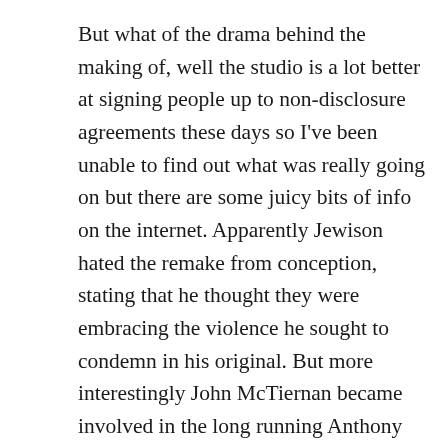But what of the drama behind the making of, well the studio is a lot better at signing people up to non-disclosure agreements these days so I've been unable to find out what was really going on but there are some juicy bits of info on the internet. Apparently Jewison hated the remake from conception, stating that he thought they were embracing the violence he sought to condemn in his original. But more interestingly John McTiernan became involved in the long running Anthony Pellicano wiretapping/racketeering/conspiracy/identity theft case. Although a minor connection, McTiernan was found guilty of making false statements to federal agents and perjury. The latest news is available HERE but it appeared to